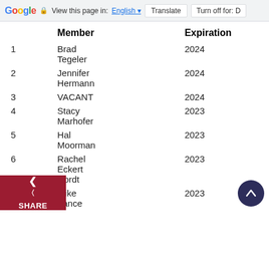Google | View this page in: English | Translate | Turn off for: D
|  | Member | Expiration |
| --- | --- | --- |
| 1 | Brad Tegeler | 2024 |
| 2 | Jennifer Hermann | 2024 |
| 3 | VACANT | 2024 |
| 4 | Stacy Marhofer | 2023 |
| 5 | Hal Moorman | 2023 |
| 6 | Rachel Eckert Nordt | 2023 |
| 7 | Mike Vance | 2023 |